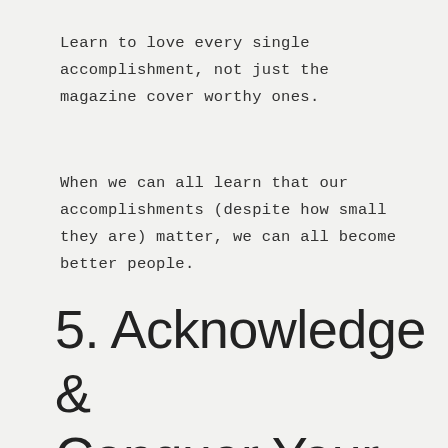Learn to love every single accomplishment, not just the magazine cover worthy ones.
When we can all learn that our accomplishments (despite how small they are) matter, we can all become better people.
5. Acknowledge & Conquer Your Negative Feelings,